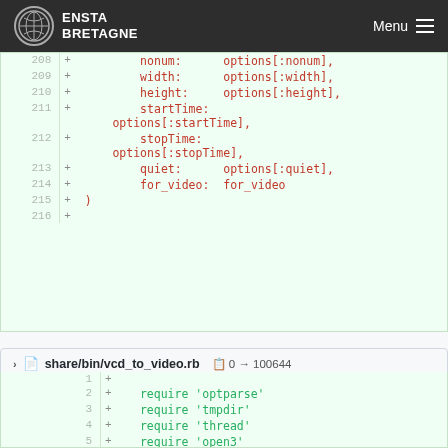ENSTA BRETAGNE — Menu
[Figure (screenshot): Code diff showing lines 208-216 with additions: nonum, width, height, startTime, stopTime, quiet, for_video options]
share/bin/vcd_to_video.rb — 0 → 100644
[Figure (screenshot): Code diff showing lines 1-6 with additions: require optparse, tmpdir, thread, open3, require_relative]